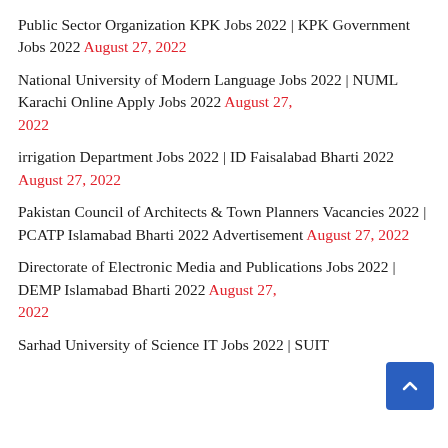Public Sector Organization KPK Jobs 2022 | KPK Government Jobs 2022 August 27, 2022
National University of Modern Language Jobs 2022 | NUML Karachi Online Apply Jobs 2022 August 27, 2022
irrigation Department Jobs 2022 | ID Faisalabad Bharti 2022 August 27, 2022
Pakistan Council of Architects & Town Planners Vacancies 2022 | PCATP Islamabad Bharti 2022 Advertisement August 27, 2022
Directorate of Electronic Media and Publications Jobs 2022 | DEMP Islamabad Bharti 2022 August 27, 2022
Sarhad University of Science IT Jobs 2022 | SUIT